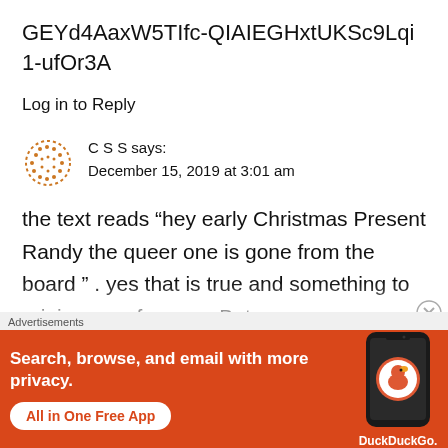GEYd4AaxW5TIfc-QIAIEGHxtUKSc9Lqi1-ufOr3A
Log in to Reply
C S S says:
December 15, 2019 at 3:01 am
the text reads “hey early Christmas Present Randy the queer one is gone from the board ” . yes that is true and something to rejoice over for sure. But
Advertisements
[Figure (screenshot): DuckDuckGo advertisement banner: orange background with white text 'Search, browse, and email with more privacy.' and button 'All in One Free App', with a phone showing the DuckDuckGo app and logo.]